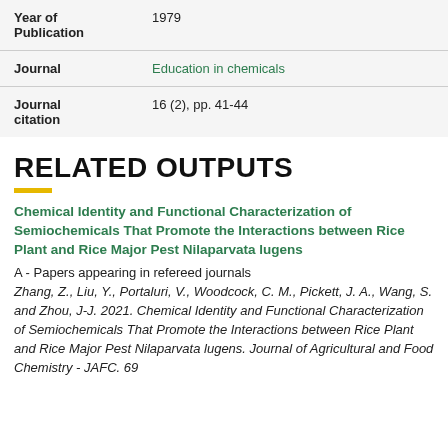| Field | Value |
| --- | --- |
| Year of Publication | 1979 |
| Journal | Education in chemicals |
| Journal citation | 16 (2), pp. 41-44 |
RELATED OUTPUTS
Chemical Identity and Functional Characterization of Semiochemicals That Promote the Interactions between Rice Plant and Rice Major Pest Nilaparvata lugens
A - Papers appearing in refereed journals
Zhang, Z., Liu, Y., Portaluri, V., Woodcock, C. M., Pickett, J. A., Wang, S. and Zhou, J-J. 2021. Chemical Identity and Functional Characterization of Semiochemicals That Promote the Interactions between Rice Plant and Rice Major Pest Nilaparvata lugens. Journal of Agricultural and Food Chemistry - JAFC. 69